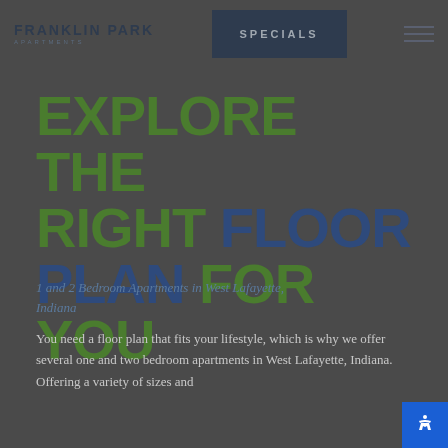FRANKLIN PARK APARTMENTS | SPECIALS
EXPLORE THE RIGHT FLOOR PLAN FOR YOU
1 and 2 Bedroom Apartments in West Lafayette, Indiana
You need a floor plan that fits your lifestyle, which is why we offer several one and two bedroom apartments in West Lafayette, Indiana. Offering a variety of sizes and